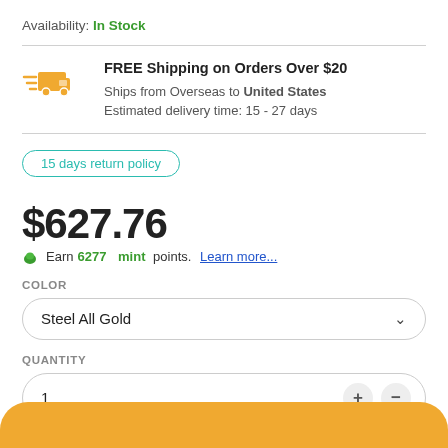Availability: In Stock
FREE Shipping on Orders Over $20
Ships from Overseas to United States
Estimated delivery time: 15 - 27 days
15 days return policy
$627.76
Earn 6277 mint points. Learn more...
COLOR
Steel All Gold
QUANTITY
1